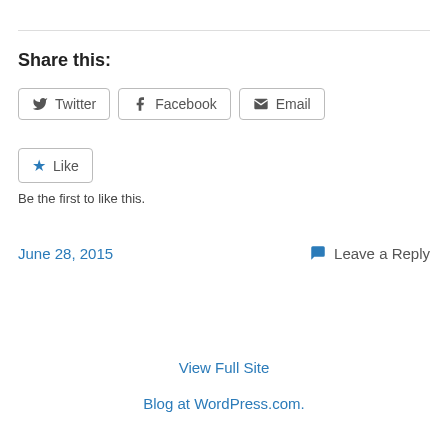Share this:
Twitter  Facebook  Email
Like  Be the first to like this.
June 28, 2015   Leave a Reply
View Full Site
Blog at WordPress.com.